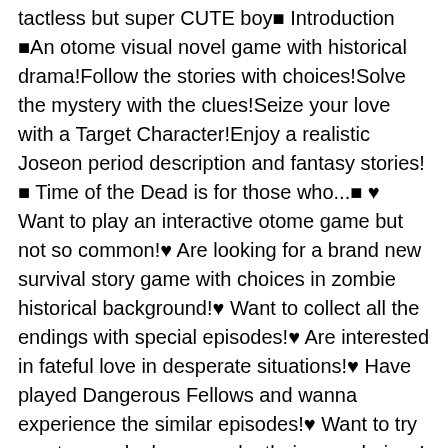tactless but super CUTE boy■ Introduction ■An otome visual novel game with historical drama!Follow the stories with choices!Solve the mystery with the clues!Seize your love with a Target Character!Enjoy a realistic Joseon period description and fantasy stories!■ Time of the Dead is for those who...■ ♥ Want to play an interactive otome game but not so common!♥ Are looking for a brand new survival story game with choices in zombie historical background!♥ Want to collect all the endings with special episodes!♥ Are interested in fateful love in desperate situations!♥ Have played Dangerous Fellows and wanna experience the similar episodes!♥ Want to try an otome roleplay game by their own choices!♥ Love to play an otome interactive game with zombie fantasy stories!♥ Want to experience how to survive in zombie land with various episodes!♥ Like watching anime or novels about love stories!◆Notice about phone permissions◆The following services will need additional